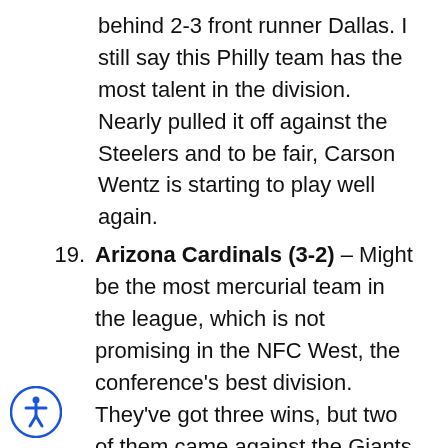behind 2-3 front runner Dallas. I still say this Philly team has the most talent in the division. Nearly pulled it off against the Steelers and to be fair, Carson Wentz is starting to play well again.
19. Arizona Cardinals (3-2) – Might be the most mercurial team in the league, which is not promising in the NFC West, the conference's best division. They've got three wins, but two of them came against the Giants and Washington, and the Cardinals lost to Detroit. As in, the Lions. Arizona also lost stud pass rusher Chandler Jones for the season in their third win – against the Jets. Call me